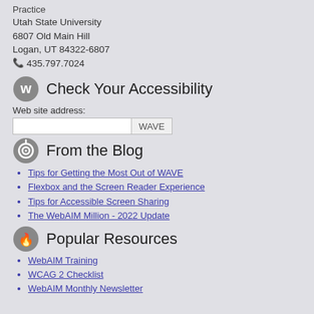Practice
Utah State University
6807 Old Main Hill
Logan, UT 84322-6807
☎ 435.797.7024
Check Your Accessibility
Web site address:
From the Blog
Tips for Getting the Most Out of WAVE
Flexbox and the Screen Reader Experience
Tips for Accessible Screen Sharing
The WebAIM Million - 2022 Update
Popular Resources
WebAIM Training
WCAG 2 Checklist
WebAIM Monthly Newsletter